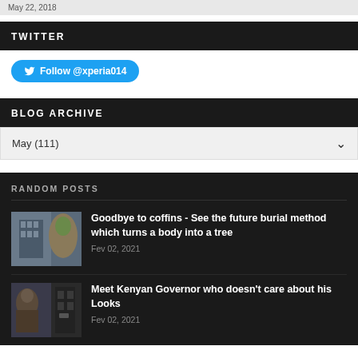May 22, 2018
TWITTER
Follow @xperia014
BLOG ARCHIVE
May (111)
RANDOM POSTS
Goodbye to coffins - See the future burial method which turns a body into a tree
Fev 02, 2021
Meet Kenyan Governor who doesn't care about his Looks
Fev 02, 2021